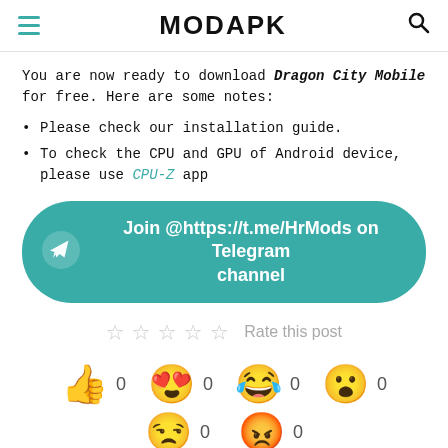MODAPK
You are now ready to download Dragon City Mobile for free. Here are some notes:
Please check our installation guide.
To check the CPU and GPU of Android device, please use CPU-Z app
[Figure (other): Teal rounded button with Telegram paper plane icon and text: Join @https://t.me/HrMods on Telegram channel]
[Figure (other): Five empty star icons followed by 'Rate this post' text]
[Figure (other): Four emoji reaction buttons: thumbs up (0), heart eyes (0), laughing crying (0), shocked face (0)]
[Figure (other): Two more emoji reaction buttons partially visible: sleepy/annoyed face (0), angry face (0)]